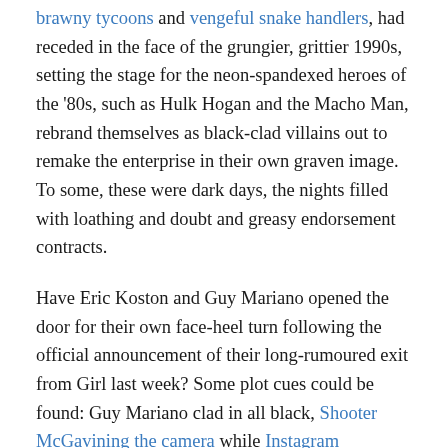brawny tycoons and vengeful snake handlers, had receded in the face of the grungier, grittier 1990s, setting the stage for the neon-spandexed heroes of the '80s, such as Hulk Hogan and the Macho Man, rebrand themselves as black-clad villains out to remake the enterprise in their own graven image. To some, these were dark days, the nights filled with loathing and doubt and greasy endorsement contracts.
Have Eric Koston and Guy Mariano opened the door for their own face-heel turn following the official announcement of their long-rumoured exit from Girl last week? Some plot cues could be found: Guy Mariano clad in all black, Shooter McGavining the camera while Instagram followers* mourn his departure from the Crailtap camp that provided both the aquatic catchpad for the then-spent rocket of his 1990s ascent and an expanded